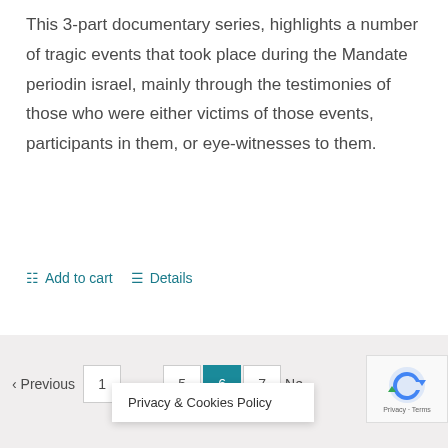This 3-part documentary series, highlights a number of tragic events that took place during the Mandate periodin israel, mainly through the testimonies of those who were either victims of those events, participants in them, or eye-witnesses to them.
Add to cart   Details
< Previous  1  5  6  7  Ne   Privacy & Cookies Policy